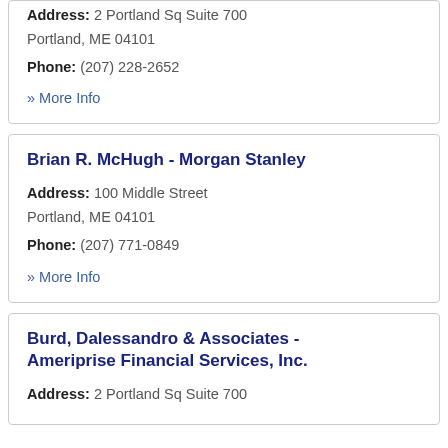Address: 2 Portland Sq Suite 700 Portland, ME 04101
Phone: (207) 228-2652
» More Info
Brian R. McHugh - Morgan Stanley
Address: 100 Middle Street Portland, ME 04101
Phone: (207) 771-0849
» More Info
Burd, Dalessandro & Associates - Ameriprise Financial Services, Inc.
Address: 2 Portland Sq Suite 700